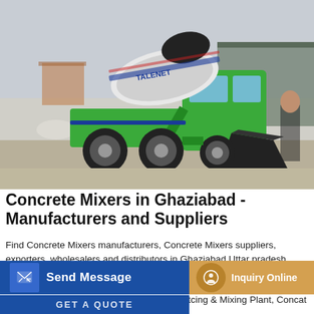[Figure (photo): A green and white self-loading concrete mixer truck with a large black loading bucket on a gravel surface, with a building in the background. Branded 'TALENET'.]
Concrete Mixers in Ghaziabad - Manufacturers and Suppliers
Find Concrete Mixers manufacturers, Concrete Mixers suppliers, exporters, wholesalers and distributors in Ghaziabad Uttar pradesh India - List of Concrete Mixers selling companies from Ghaziabad with catalogs, phone numbers, addresses & prices for Concrete Mixers. Concat RM Series Concrete Mini Mobile Batcing & Mixing Plant, Concat